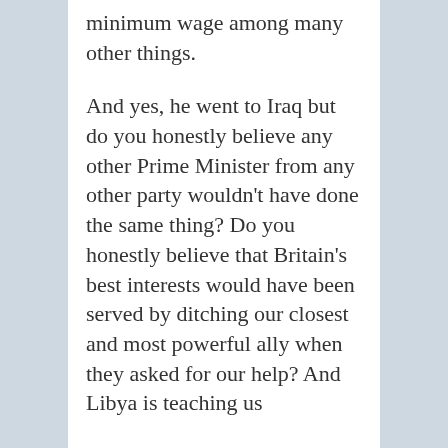minimum wage among many other things.
And yes, he went to Iraq but do you honestly believe any other Prime Minister from any other party wouldn't have done the same thing? Do you honestly believe that Britain's best interests would have been served by ditching our closest and most powerful ally when they asked for our help? And Libya is teaching us